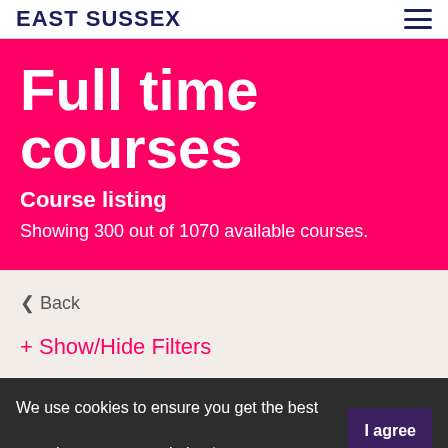EAST SUSSEX
Full time courses
Course listing
Showing 300 out of 1070 available courses.
‹ Back
+ Show/Hide Filters
We use cookies to ensure you get the best experience on our website. Learn more  I agree